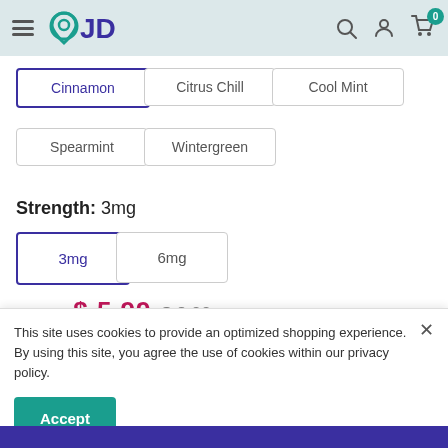VJD — navigation header with hamburger, logo, search, account, cart (0)
Cinnamon (selected)
Citrus Chill
Cool Mint
Spearmint
Wintergreen
Strength: 3mg
3mg (selected)
6mg
Price: $5.99  $8.99
This site uses cookies to provide an optimized shopping experience. By using this site, you agree the use of cookies within our privacy policy.
Accept